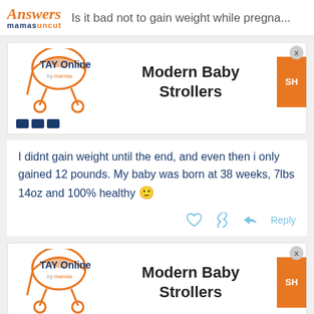Answers mamasuncut — Is it bad not to gain weight while pregna...
[Figure (advertisement): TAY Online by mamas advertisement for Modern Baby Strollers with stroller logo icon, orange shop button, and close X button]
I didnt gain weight until the end, and even then i only gained 12 pounds. My baby was born at 38 weeks, 7lbs 14oz and 100% healthy 🙂
[Figure (advertisement): Second TAY Online by mamas advertisement for Modern Baby Strollers (partial view at bottom of page)]